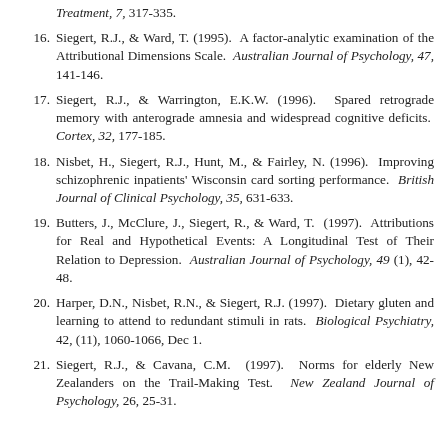Treatment, 7, 317-335.
16. Siegert, R.J., & Ward, T. (1995). A factor-analytic examination of the Attributional Dimensions Scale. Australian Journal of Psychology, 47, 141-146.
17. Siegert, R.J., & Warrington, E.K.W. (1996). Spared retrograde memory with anterograde amnesia and widespread cognitive deficits. Cortex, 32, 177-185.
18. Nisbet, H., Siegert, R.J., Hunt, M., & Fairley, N. (1996). Improving schizophrenic inpatients' Wisconsin card sorting performance. British Journal of Clinical Psychology, 35, 631-633.
19. Butters, J., McClure, J., Siegert, R., & Ward, T. (1997). Attributions for Real and Hypothetical Events: A Longitudinal Test of Their Relation to Depression. Australian Journal of Psychology, 49 (1), 42-48.
20. Harper, D.N., Nisbet, R.N., & Siegert, R.J. (1997). Dietary gluten and learning to attend to redundant stimuli in rats. Biological Psychiatry, 42, (11), 1060-1066, Dec 1.
21. Siegert, R.J., & Cavana, C.M. (1997). Norms for elderly New Zealanders on the Trail-Making Test. New Zealand Journal of Psychology, 26, 25-31.